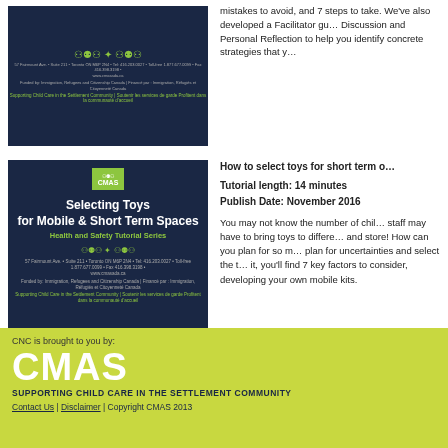[Figure (screenshot): CMAS dark blue tutorial slide cover with green logo and footer address text]
mistakes to avoid, and 7 steps to take. We've also developed a Facilitator guide with Discussion and Personal Reflection to help you identify concrete strategies that y…
[Figure (screenshot): CMAS 'Selecting Toys for Mobile & Short Term Spaces – Health and Safety Tutorial Series' dark blue cover slide with green CMAS logo box]
How to select toys for short term o…
Tutorial length: 14 minutes
Publish Date: November 2016
You may not know the number of children, staff may have to bring toys to different areas and store! How can you plan for so m… plan for uncertainties and select the t… it, you'll find 7 key factors to consider, developing your own mobile kits.
CNC is brought to you by:
CMAS
SUPPORTING CHILD CARE IN THE SETTLEMENT COMMUNITY
Contact Us | Disclaimer | Copyright CMAS 2013